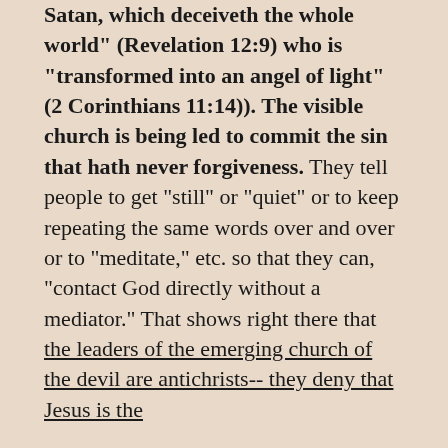Satan, which deceiveth the whole world" (Revelation 12:9) who is "transformed into an angel of light" (2 Corinthians 11:14)). The visible church is being led to commit the sin that hath never forgiveness. They tell people to get "still" or "quiet" or to keep repeating the same words over and over or to "meditate," etc. so that they can, "contact God directly without a mediator." That shows right there that the leaders of the emerging church of the devil are antichrists-- they deny that Jesus is the